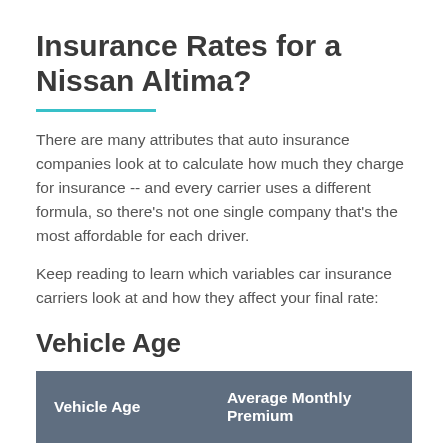Insurance Rates for a Nissan Altima?
There are many attributes that auto insurance companies look at to calculate how much they charge for insurance -- and every carrier uses a different formula, so there’s not one single company that’s the most affordable for each driver.
Keep reading to learn which variables car insurance carriers look at and how they affect your final rate:
Vehicle Age
| Vehicle Age | Average Monthly Premium |
| --- | --- |